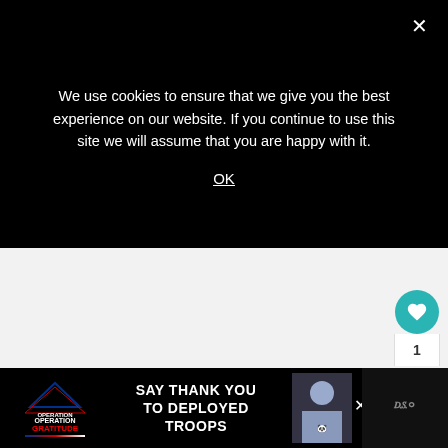We use cookies to ensure that we give you the best experience on our website. If you continue to use this site we will assume that you are happy with it.
OK
[Figure (screenshot): Light grey empty content area below the cookie banner]
[Figure (infographic): Teal heart/like button circle, like count '1', and share button on the right side]
1
[Figure (infographic): What's Next widget with thumbnail and text: WHAT'S NEXT -> 5 Smart Things to D...]
WHAT'S NEXT → 5 Smart Things to D...
[Figure (infographic): Operation Gratitude advertisement banner: SAY THANK YOU TO DEPLOYED TROOPS]
SAY THANK YOU TO DEPLOYED TROOPS